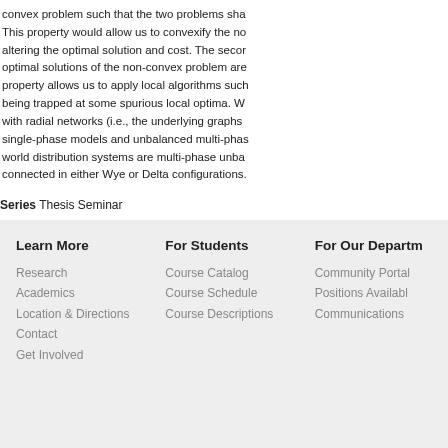convex problem such that the two problems sha... This property would allow us to convexify the no... altering the optimal solution and cost. The seco... optimal solutions of the non-convex problem are... property allows us to apply local algorithms such... being trapped at some spurious local optima. We... with radial networks (i.e., the underlying graphs... single-phase models and unbalanced multi-phas... world distribution systems are multi-phase unba... connected in either Wye or Delta configurations.
Series Thesis Seminar
Contact: Tanya Owen tanya@caltech.edu
Learn More
Research
Academics
Location & Directions
Contact
Get Involved
For Students
Course Catalog
Course Schedule
Course Descriptions
For Our Department
Community Portal
Positions Available
Communications